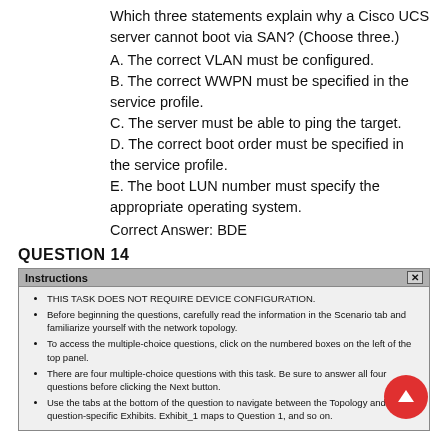Which three statements explain why a Cisco UCS server cannot boot via SAN? (Choose three.)
A. The correct VLAN must be configured.
B. The correct WWPN must be specified in the service profile.
C. The server must be able to ping the target.
D. The correct boot order must be specified in the service profile.
E. The boot LUN number must specify the appropriate operating system.
Correct Answer: BDE
QUESTION 14
[Figure (screenshot): A dialog box titled 'Instructions' with a close button (X). Contains bullet points: THIS TASK DOES NOT REQUIRE DEVICE CONFIGURATION. Before beginning the questions, carefully read the information in the Scenario tab and familiarize yourself with the network topology. To access the multiple-choice questions, click on the numbered boxes on the left of the top panel. There are four multiple-choice questions with this task. Be sure to answer all four questions before clicking the Next button. Use the tabs at the bottom of the question to navigate between the Topology and question-specific Exhibits. Exhibit_1 maps to Question 1, and so on.]